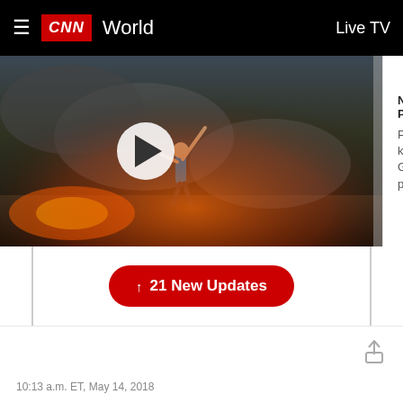CNN World  Live TV
[Figure (screenshot): CNN video player showing a scene from Gaza protests with a person throwing objects amid smoke and fire. A white play button is visible. A 'Now Playing' panel shows title 'Palestinians killed in Gaza protests' with a close X button.]
Now Playing
Palestinians killed in Gaza protests
↑  21 New Updates
10:13 a.m. ET, May 14, 2018
2 controversial pastors spoke at today's ceremony
Two controversial US pastors spoke at today's embassy opening: Robert Jeffress and John Hagee.